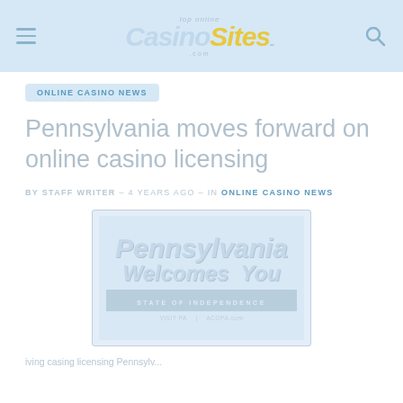Top Online Casino Sites
ONLINE CASINO NEWS
Pennsylvania moves forward on online casino licensing
BY STAFF WRITER – 4 YEARS AGO – IN ONLINE CASINO NEWS
[Figure (photo): Pennsylvania Welcomes You road sign — State of Independence, with VISIT PA and ACOPA.com links at the bottom]
Article body text begins...